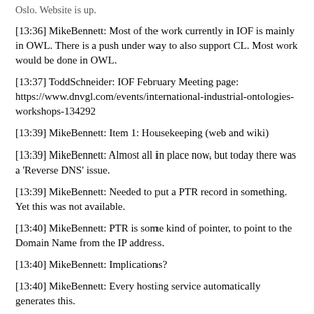Oslo. Website is up.
[13:36] MikeBennett: Most of the work currently in IOF is mainly in OWL. There is a push under way to also support CL. Most work would be done in OWL.
[13:37] ToddSchneider: IOF February Meeting page: https://www.dnvgl.com/events/international-industrial-ontologies-workshops-134292
[13:39] MikeBennett: Item 1: Housekeeping (web and wiki)
[13:39] MikeBennett: Almost all in place now, but today there was a 'Reverse DNS' issue.
[13:39] MikeBennett: Needed to put a PTR record in something. Yet this was not available.
[13:40] MikeBennett: PTR is some kind of pointer, to point to the Domain Name from the IP address.
[13:40] MikeBennett: Implications?
[13:40] MikeBennett: Every hosting service automatically generates this.